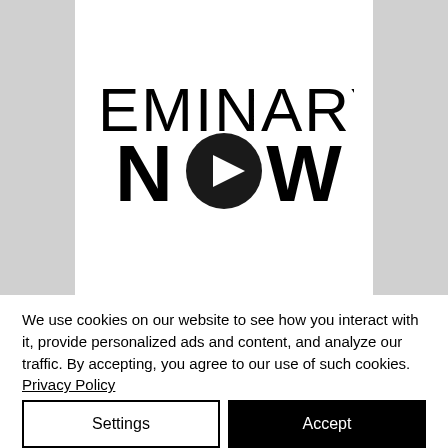[Figure (logo): Seminary Now logo: large thin-weight letters 'SEMINARY' above bold 'NOW' with a play button circle replacing the 'O', all in black on white background with gray side panels]
We use cookies on our website to see how you interact with it, provide personalized ads and content, and analyze our traffic. By accepting, you agree to our use of such cookies. Privacy Policy
Settings
Accept